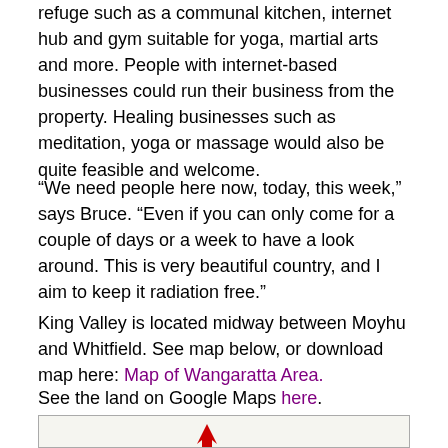refuge such as a communal kitchen, internet hub and gym suitable for yoga, martial arts and more. People with internet-based businesses could run their business from the property. Healing businesses such as meditation, yoga or massage would also be quite feasible and welcome.
“We need people here now, today, this week,” says Bruce. “Even if you can only come for a couple of days or a week to have a look around. This is very beautiful country, and I aim to keep it radiation free.”
King Valley is located midway between Moyhu and Whitfield. See map below, or download map here: Map of Wangaratta Area.
See the land on Google Maps here.
[Figure (map): Partial map image visible at bottom of page, showing a red arrow/marker on a map of the Wangaratta area]